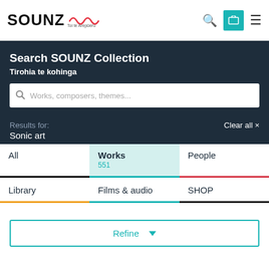SOUNZ Toi te Arepūeru
Search SOUNZ Collection
Tirohia te kohinga
Works, composers, themes...
Results for: Sonic art
Clear all ×
All | Works 551 | People | Library | Films & audio | SHOP
Refine ▼